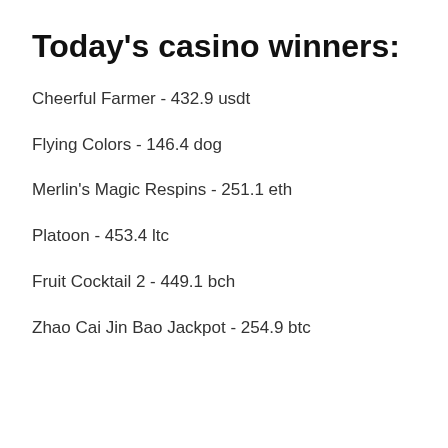Today's casino winners:
Cheerful Farmer - 432.9 usdt
Flying Colors - 146.4 dog
Merlin's Magic Respins - 251.1 eth
Platoon - 453.4 ltc
Fruit Cocktail 2 - 449.1 bch
Zhao Cai Jin Bao Jackpot - 254.9 btc